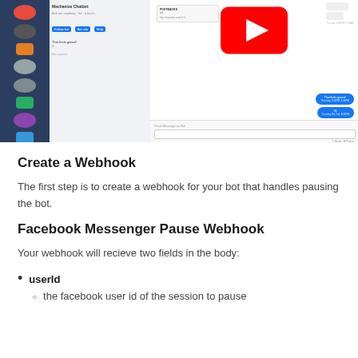[Figure (screenshot): Screenshot of a Facebook Messenger bot interface with a YouTube play button overlay, showing chat panels and conversation bubbles.]
Create a Webhook
The first step is to create a webhook for your bot that handles pausing the bot.
Facebook Messenger Pause Webhook
Your webhook will recieve two fields in the body:
userId
the facebook user id of the session to pause